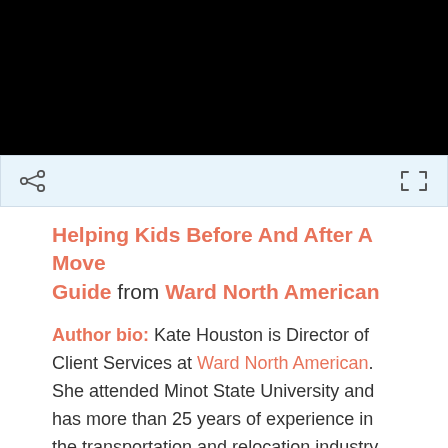[Figure (screenshot): Black video player area at top of page]
[Figure (screenshot): Light blue toolbar with share icon on left and expand/fullscreen icon on right]
Helping Kids Before And After A Move Guide from Ward North American
Author bio: Kate Houston is Director of Client Services at Ward North American. She attended Minot State University and has more than 25 years of experience in the transportation and relocation industry.
OCTOBER 22, 2019 / 0 COMMENTS / BY PLALONDE